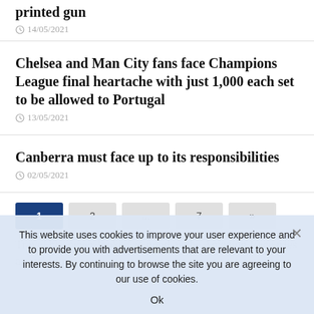printed gun
14/05/2021
Chelsea and Man City fans face Champions League final heartache with just 1,000 each set to be allowed to Portugal
13/05/2021
Canberra must face up to its responsibilities
02/05/2021
[Figure (other): Pagination bar with page buttons: 1 (active, dark blue), 2, ..., 7, >>]
This website uses cookies to improve your user experience and to provide you with advertisements that are relevant to your interests. By continuing to browse the site you are agreeing to our use of cookies.
Ok
Travel has never looked so good as the Amazing Race tries a world first